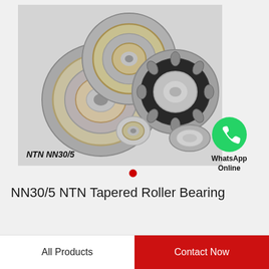[Figure (photo): Multiple NTN NN30/5 tapered roller bearings of various sizes, silver and gold colored, arranged together on a light gray background.]
NTN NN30/5
[Figure (logo): WhatsApp green circle icon with white phone handset, labeled 'WhatsApp Online']
NN30/5 NTN Tapered Roller Bearing
All Products
Contact Now